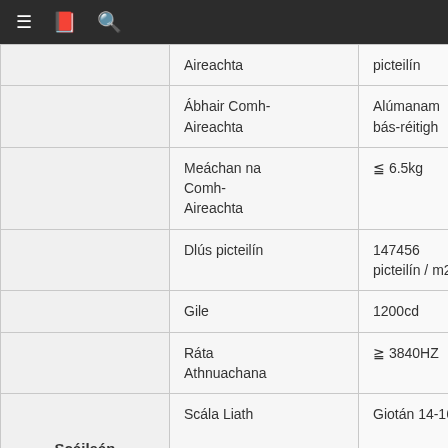|  |  |  |
| --- | --- | --- |
|  | Aireachta | picteilín |
|  | Ábhair Comh-Aireachta | Alúmanam bás-réitigh |
|  | Meáchan na Comh-Aireachta | ≦ 6.5kg |
|  | Dlús picteilín | 147456 picteilín / m2 |
|  | Gile | 1200cd |
|  | Ráta Athnuachana | ≧ 3840HZ |
| Scáileán Faoi stiúir | Scála Liath | Giotán 14-16 |